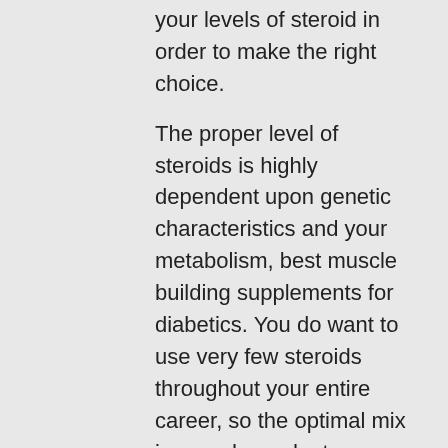your levels of steroid in order to make the right choice.
The proper level of steroids is highly dependent upon genetic characteristics and your metabolism, best muscle building supplements for diabetics. You do want to use very few steroids throughout your entire career, so the optimal mix is very dependent upon that factor.
Now if you're unsure of your testosterone levels, start at 15 to 20% but try to keep this at around 7%, ibutamoren for sale australia.
A 1% increase is generally enough for you to see the desired results. If you're not sure what your testosterone is, start at 20% and your testosterone will slowly get higher, karboz bulk gainer price. It doesn't matter how you do it so long as you keep it there